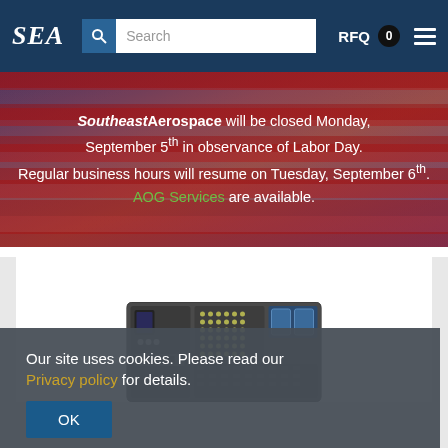SEA | Search | RFQ 0
[Figure (screenshot): Website banner with American flag background showing a holiday closure notice for Southeast Aerospace]
Southeast Aerospace will be closed Monday, September 5th in observance of Labor Day. Regular business hours will resume on Tuesday, September 6th. AOG Services are available.
[Figure (photo): Electronic circuit board component, top-down view showing various electronic components including capacitors, connectors, and circuit elements]
Our site uses cookies. Please read our Privacy policy for details. OK